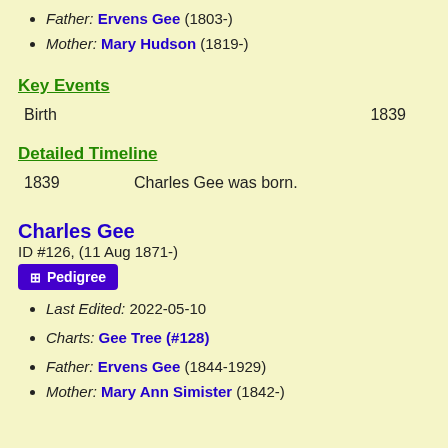Father: Ervens Gee (1803-)
Mother: Mary Hudson (1819-)
Key Events
Birth    1839
Detailed Timeline
1839    Charles Gee was born.
Charles Gee
ID #126, (11 Aug 1871-)
Pedigree
Last Edited: 2022-05-10
Charts: Gee Tree (#128)
Father: Ervens Gee (1844-1929)
Mother: Mary Ann Simister (1842-)